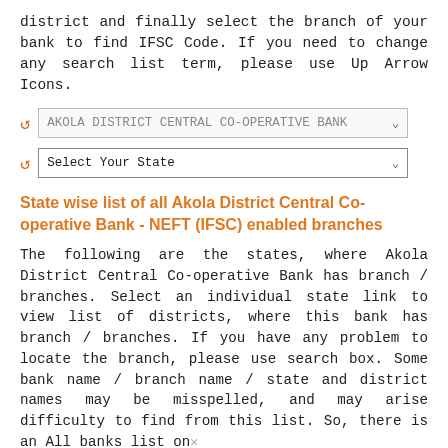district and finally select the branch of your bank to find IFSC Code. If you need to change any search list term, please use Up Arrow Icons.
[Figure (screenshot): Dropdown selector showing 'AKOLA DISTRICT CENTRAL CO-OPERATIVE BANK' with a reset/refresh icon]
[Figure (screenshot): Dropdown selector showing 'Select Your State' with a reset/refresh icon and a dropdown arrow]
State wise list of all Akola District Central Co-operative Bank - NEFT (IFSC) enabled branches
The following are the states, where Akola District Central Co-operative Bank has branch / branches. Select an individual state link to view list of districts, where this bank has branch / branches. If you have any problem to locate the branch, please use search box. Some bank name / branch name / state and district names may be misspelled, and may arise difficulty to find from this list. So, there is an All banks list on